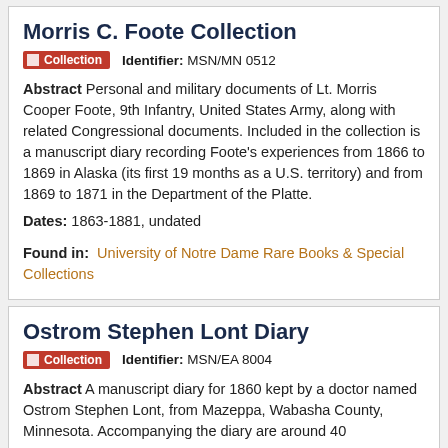Morris C. Foote Collection
Collection   Identifier: MSN/MN 0512
Abstract Personal and military documents of Lt. Morris Cooper Foote, 9th Infantry, United States Army, along with related Congressional documents. Included in the collection is a manuscript diary recording Foote's experiences from 1866 to 1869 in Alaska (its first 19 months as a U.S. territory) and from 1869 to 1871 in the Department of the Platte.
Dates: 1863-1881, undated
Found in:  University of Notre Dame Rare Books & Special Collections
Ostrom Stephen Lont Diary
Collection   Identifier: MSN/EA 8004
Abstract A manuscript diary for 1860 kept by a doctor named Ostrom Stephen Lont, from Mazeppa, Wabasha County, Minnesota. Accompanying the diary are around 40